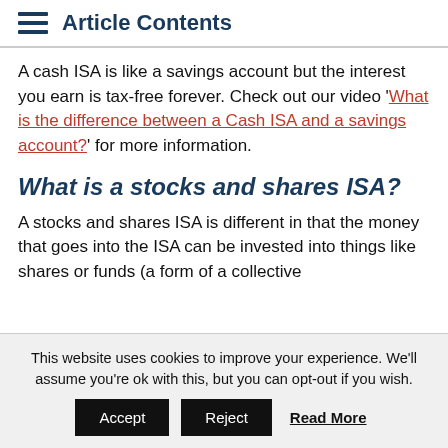Article Contents
A cash ISA is like a savings account but the interest you earn is tax-free forever. Check out our video 'What is the difference between a Cash ISA and a savings account?' for more information.
What is a stocks and shares ISA?
A stocks and shares ISA is different in that the money that goes into the ISA can be invested into things like shares or funds (a form of a collective
This website uses cookies to improve your experience. We'll assume you're ok with this, but you can opt-out if you wish. Accept Reject Read More